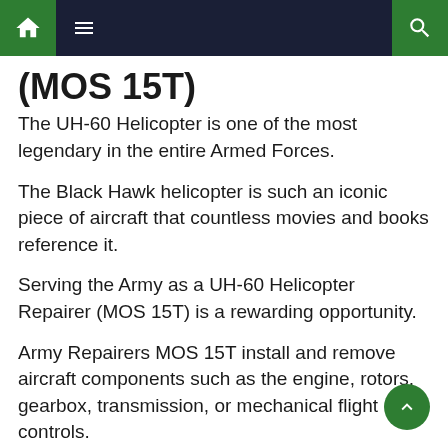Navigation bar with home, menu, and search icons
(MOS 15T)
The UH-60 Helicopter is one of the most legendary in the entire Armed Forces.
The Black Hawk helicopter is such an iconic piece of aircraft that countless movies and books reference it.
Serving the Army as a UH-60 Helicopter Repairer (MOS 15T) is a rewarding opportunity.
Army Repairers MOS 15T install and remove aircraft components such as the engine, rotors, gearbox, transmission, or mechanical flight controls.